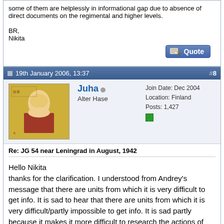some of them are helplessly in informational gap due to absence of direct documents on the regimental and higher levels.

BR,
Nikita
[Figure (screenshot): Quote button - blue gradient button with pencil icon and 'Quote' text]
19th January 2006, 13:37
#8
[Figure (illustration): User avatar image with Asian illustration/book cover art in yellow/orange tones]
Juha
Alter Hase
Join Date: Dec 2004
Location: Finland
Posts: 1,427
Re: JG 54 near Leningrad in August, 1942
Hello Nikita
thanks for the clarification. I understood from Andrey’s message that there are units from which it is very difficult to get info. It is sad to hear that there are units from which it is very difficult/partly impossible to get info. It is sad partly because it makes it more difficult to research the actions of the Axis side but much more importantly because it makes the research of VVS more difficult. Even if the main purpose of historical research